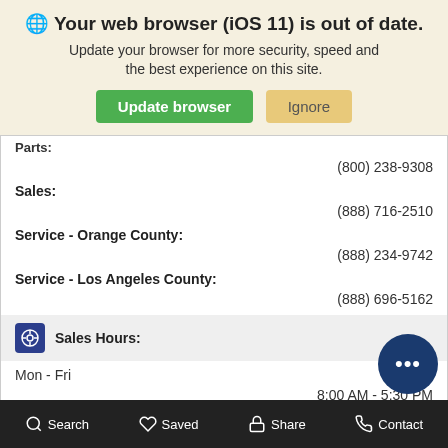🌐 Your web browser (iOS 11) is out of date. Update your browser for more security, speed and the best experience on this site.
Update browser | Ignore
Parts:
(800) 238-9308
Sales:
(888) 716-2510
Service - Orange County:
(888) 234-9742
Service - Los Angeles County:
(888) 696-5162
Sales Hours:
Mon - Fri
8:00 AM - 5:30 PM
Sat
8:00 AM
Sun
Search   Saved   Share   Contact